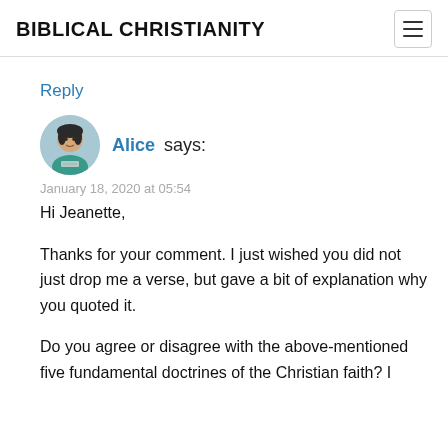BIBLICAL CHRISTIANITY
Reply
[Figure (photo): Circular avatar image of a woman named Alice]
Alice says:
January 18, 2020 at 05:54
Hi Jeanette,
Thanks for your comment. I just wished you did not just drop me a verse, but gave a bit of explanation why you quoted it.
Do you agree or disagree with the above-mentioned five fundamental doctrines of the Christian faith? I